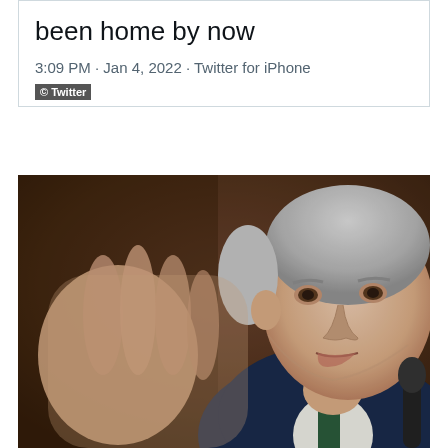been home by now
3:09 PM · Jan 4, 2022 · Twitter for iPhone
© Twitter
[Figure (photo): Close-up photo of a gray-haired man in a suit speaking at a microphone, with hand raised, against a dark brown background. Appears to be testifying at a hearing.]